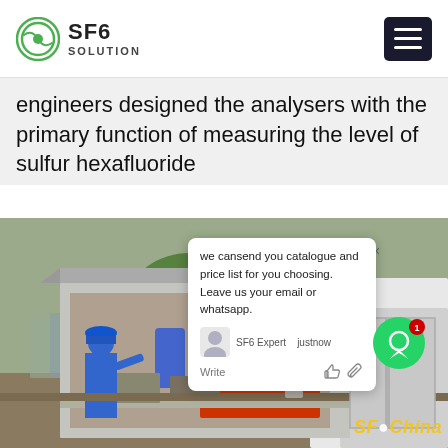SF6 SOLUTION
engineers designed the analysers with the primary function of measuring the level of sulfur hexafluoride
[Figure (photo): A field engineer in blue protective suit and hard hat standing next to an open service truck loaded with SF6 gas analysis equipment. Trees and industrial structures visible in background. SF6China watermark in bottom right.]
we cansend you catalogue and price list for you choosing. Leave us your email or whatsapp.
SF6 Expert   justnow
Write